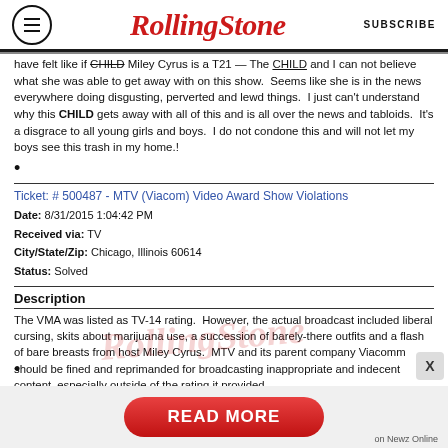RollingStone | SUBSCRIBE
have felt like if CHILD Miley Cyrus is a T21 — The CHILD and I can not believe what she was able to get away with on this show. Seems like she is in the news everywhere doing disgusting, perverted and lewd things. I just can't understand why this CHILD gets away with all of this and is all over the news and tabloids. It's a disgrace to all young girls and boys. I do not condone this and will not let my boys see this trash in my home.!
•
Ticket: # 500487 - MTV (Viacom) Video Award Show Violations
Date: 8/31/2015 1:04:42 PM
Received via: TV
City/State/Zip: Chicago, Illinois 60614
Status: Solved
Description
The VMA was listed as TV-14 rating. However, the actual broadcast included liberal cursing, skits about marijuana use, a succession of barely-there outfits and a flash of bare breasts from host Miley Cyrus. MTV and its parent company Viacomm should be fined and reprimanded for broadcasting inappropriate and indecent content, especially outside of the rating it provided.
•